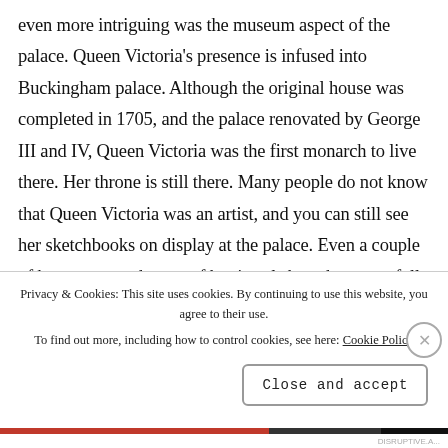even more intriguing was the museum aspect of the palace. Queen Victoria's presence is infused into Buckingham palace. Although the original house was completed in 1705, and the palace renovated by George III and IV, Queen Victoria was the first monarch to live there. Her throne is still there. Many people do not know that Queen Victoria was an artist, and you can still see her sketchbooks on display at the palace. Even a couple of her gowns and some of her jewels have been carefully preserved. Queen Victoria is remembered as one of Great Britain's greatest monarchs with an entire era named after her
Privacy & Cookies: This site uses cookies. By continuing to use this website, you agree to their use. To find out more, including how to control cookies, see here: Cookie Policy
Close and accept